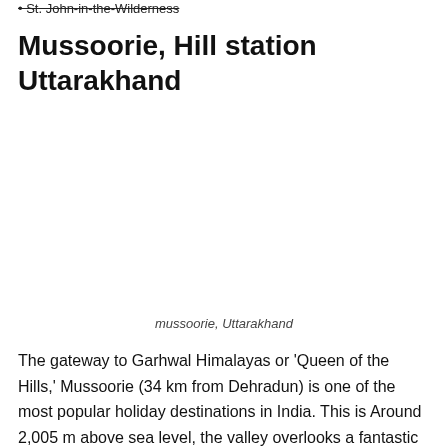St. John-in-the-Wilderness
Mussoorie, Hill station Uttarakhand
mussoorie, Uttarakhand
The gateway to Garhwal Himalayas or ‘Queen of the Hills,’ Mussoorie (34 km from Dehradun) is one of the most popular holiday destinations in India. This is Around 2,005 m above sea level, the valley overlooks a fantastic view it is the best